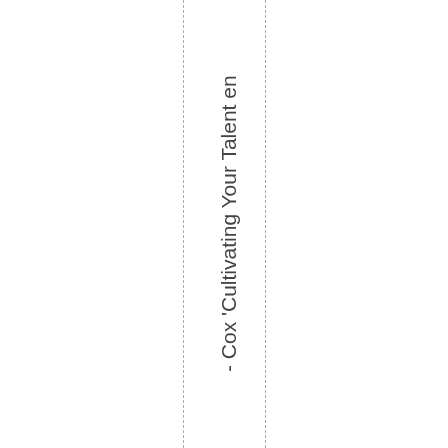- Cox 'Cultivating Your Talent en